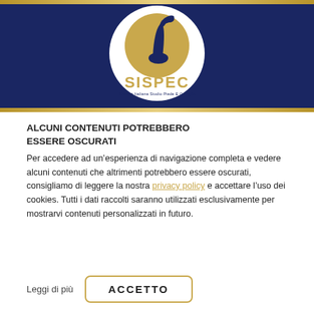[Figure (logo): SISPEC logo — circular emblem with a golden background showing a stylized blue foot/ankle silhouette, on a dark navy blue header band. Text 'SISPEC' in gold below and subtitle 'Società Italiana Studio Piede E Caviglia' in navy.]
ALCUNI CONTENUTI POTREBBERO ESSERE OSCURATI
Per accedere ad un'esperienza di navigazione completa e vedere alcuni contenuti che altrimenti potrebbero essere oscurati, consigliamo di leggere la nostra privacy policy e accettare l'uso dei cookies. Tutti i dati raccolti saranno utilizzati esclusivamente per mostrarvi contenuti personalizzati in futuro.
Leggi di più
ACCETTO